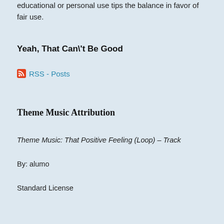educational or personal use tips the balance in favor of fair use.
Yeah, That Can\'t Be Good
RSS - Posts
Theme Music Attribution
Theme Music: That Positive Feeling (Loop) – Track
By: alumo
Standard License